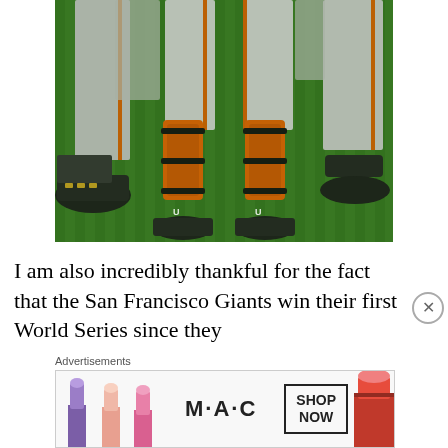[Figure (photo): Close-up photograph of baseball players' lower legs and cleats on green grass field, showing orange and black protective gear (catcher's shin guards) and gray baseball pants with baseball cleats.]
I am also incredibly thankful for the fact that the San Francisco Giants win their first World Series since they
[Figure (photo): Advertisement for MAC cosmetics showing lipsticks in purple, pink, and red colors alongside the MAC logo and a 'SHOP NOW' button.]